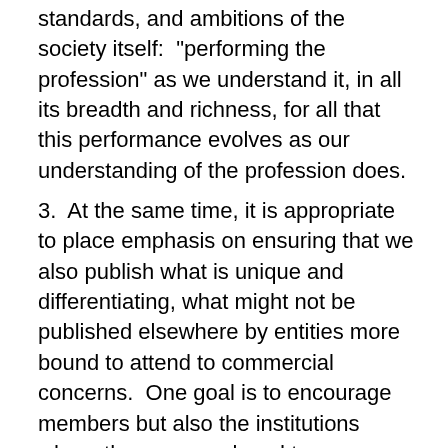standards, and ambitions of the society itself:  "performing the profession" as we understand it, in all its breadth and richness, for all that this performance evolves as our understanding of the profession does.
3.  At the same time, it is appropriate to place emphasis on ensuring that we also publish what is unique and differentiating, what might not be published elsewhere by entities more bound to attend to commercial concerns.  One goal is to encourage members but also the institutions where they are employed to pursue arduous work that might not otherwise easily be encouraged in an institutional culture whose goals are not completely aligned with what the APA